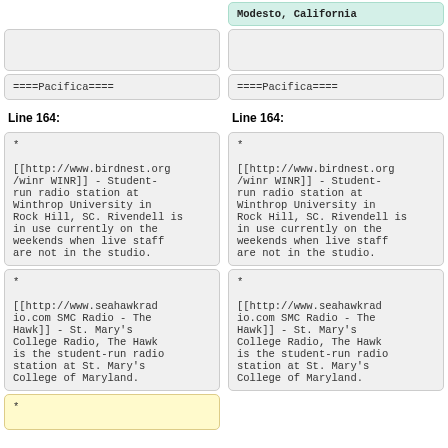Modesto, California
====Pacifica====
====Pacifica====
Line 164:
Line 164:
* [[http://www.birdnest.org/winr WINR]] - Student-run radio station at Winthrop University in Rock Hill, SC. Rivendell is in use currently on the weekends when live staff are not in the studio.
* [[http://www.birdnest.org/winr WINR]] - Student-run radio station at Winthrop University in Rock Hill, SC. Rivendell is in use currently on the weekends when live staff are not in the studio.
* [[http://www.seahawkradio.com SMC Radio - The Hawk]] - St. Mary's College Radio, The Hawk is the student-run radio station at St. Mary's College of Maryland.
* [[http://www.seahawkradio.com SMC Radio - The Hawk]] - St. Mary's College Radio, The Hawk is the student-run radio station at St. Mary's College of Maryland.